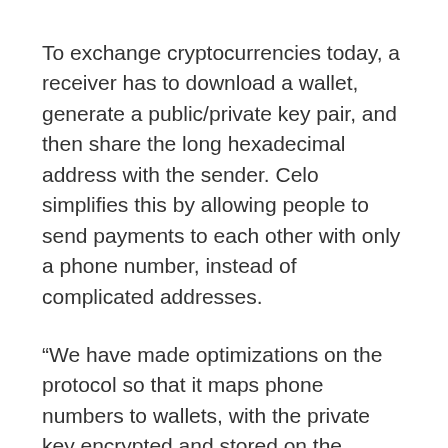To exchange cryptocurrencies today, a receiver has to download a wallet, generate a public/private key pair, and then share the long hexadecimal address with the sender. Celo simplifies this by allowing people to send payments to each other with only a phone number, instead of complicated addresses.
“We have made optimizations on the protocol so that it maps phone numbers to wallets, with the private key encrypted and stored on the phone,” said Kereiakes, “there is no middleman, no bank, and that is a powerful advantage to give people this level of financial security on their phone, in a way that is user friendly.”
Leveraging its mobile-first approach to bring people to the world of blockchain technology and crypto,